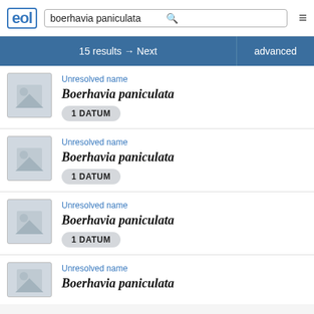EOL — boerhavia paniculata — search interface
15 results → Next
advanced
Unresolved name
Boerhavia paniculata
1 DATUM
Unresolved name
Boerhavia paniculata
1 DATUM
Unresolved name
Boerhavia paniculata
1 DATUM
Unresolved name
Boerhavia paniculata